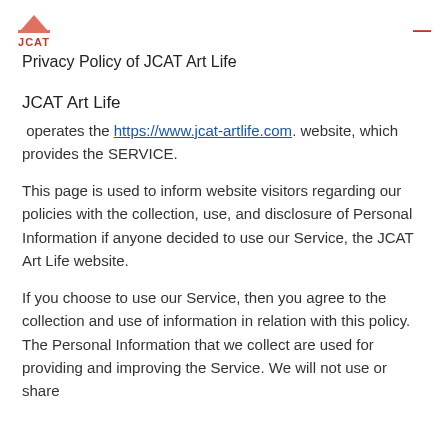JCAT
Privacy Policy of JCAT Art Life
JCAT Art Life
operates the https://www.jcat-artlife.com. website, which provides the SERVICE.
This page is used to inform website visitors regarding our policies with the collection, use, and disclosure of Personal Information if anyone decided to use our Service, the JCAT Art Life website.
If you choose to use our Service, then you agree to the collection and use of information in relation with this policy. The Personal Information that we collect are used for providing and improving the Service. We will not use or share